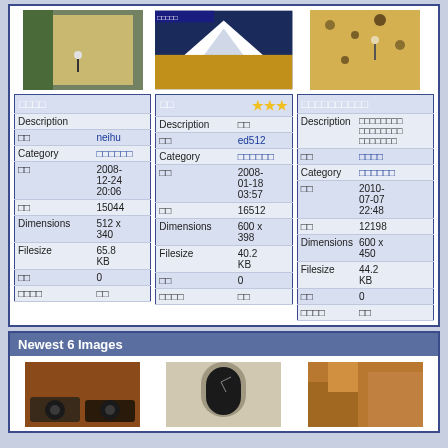[Figure (screenshot): Gallery section with 3 climbing photos and info tables]
| Field | Value |
| --- | --- |
| Description |  |
| □□ | neihu |
| Category | □□□□□□ |
| □□ | 2008-12-24 20:06 |
| □□ | 15044 |
| Dimensions | 512 x 340 |
| Filesize | 65.8 KB |
| □□ | 0 |
| □□□□ | □□ |
| □□ ★★★ |  |
| --- | --- |
| Description | □□ |
| □□ | ed512 |
| Category | □□□□□□ |
| □□ | 2008-01-18 03:57 |
| □□ | 16512 |
| Dimensions | 600 x 398 |
| Filesize | 40.2 KB |
| □□ | 0 |
| □□□□ | □□ |
| □□□□□□□□□□ |  |
| --- | --- |
| Description | □□□□□□□□ □□□□□□□□ □□□□□□□ |
| □□ | □□□□ |
| Category | □□□□□□ |
| □□ | 2010-07-07 22:48 |
| □□ | 12198 |
| Dimensions | 600 x 450 |
| Filesize | 44.2 KB |
| □□ | 0 |
| □□□□ | □□ |
Newest 6 Images
[Figure (screenshot): Newest 6 images row with 3 thumbnail photos]